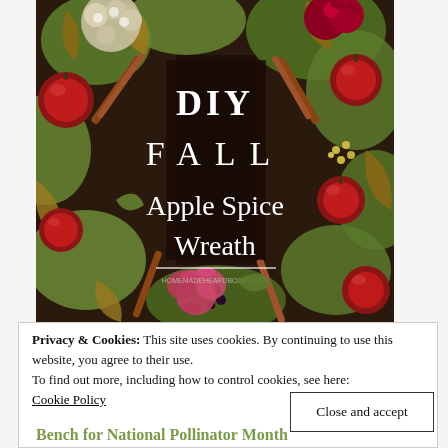[Figure (photo): A decorative fall wreath made with artificial apples, red flowers, cinnamon sticks, green leaves, berries, and hydrangeas. The wreath has text overlay reading 'DIY FALL Apple Spice Wreath' in white serif font on a dark background. A watermark URL is visible near the bottom of the text.]
Privacy & Cookies: This site uses cookies. By continuing to use this website, you agree to their use.
To find out more, including how to control cookies, see here:
Cookie Policy
Close and accept
Bench for National Pollinator Month